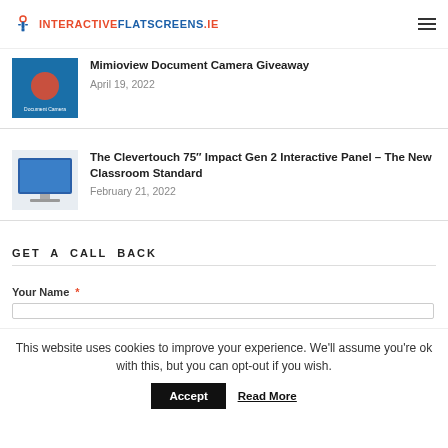INTERACTIVEFLATSCREENS.IE
Mimioview Document Camera Giveaway
April 19, 2022
The Clevertouch 75" Impact Gen 2 Interactive Panel – The New Classroom Standard
February 21, 2022
GET A CALL BACK
Your Name *
This website uses cookies to improve your experience. We'll assume you're ok with this, but you can opt-out if you wish.
Accept   Read More